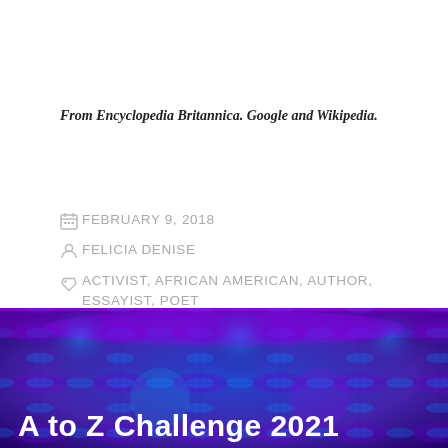From Encyclopedia Britannica. Google and Wikipedia.
FEBRUARY 9, 2018
FELICIA DENISE
ACTIVIST, AFRICAN AMERICAN, AUTHOR, ESSAYIST, POET
LEAVE A COMMENT
[Figure (illustration): Abstract geometric pattern with purple, blue and cyan colors forming a symmetrical design. Text overlay reads 'A to Z Challenge 2021' in white bold font.]